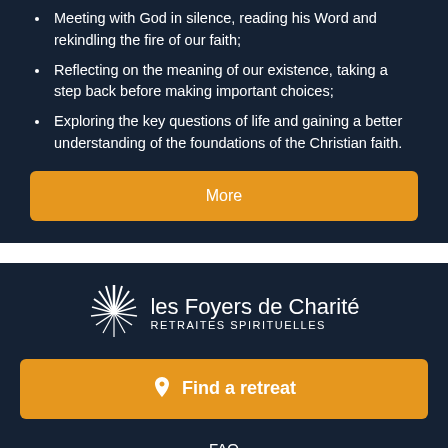Meeting with God in silence, reading his Word and rekindling the fire of our faith;
Reflecting on the meaning of our existence, taking a step back before making important choices;
Exploring the key questions of life and gaining a better understanding of the foundations of the Christian faith.
More
[Figure (logo): Les Foyers de Charité logo with sunburst icon and text 'les Foyers de Charité RETRAITES SPIRITUELLES']
Find a retreat
FAQ
Legal notice